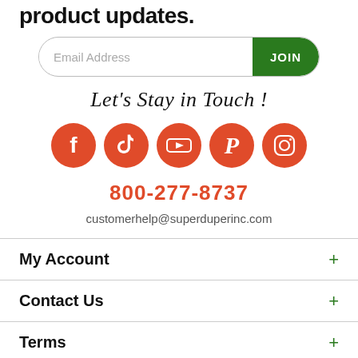product updates.
[Figure (other): Email signup form with text field placeholder 'Email Address' and green JOIN button]
Let's Stay in Touch !
[Figure (infographic): Five red circular social media icons: Facebook, TikTok, YouTube, Pinterest, Instagram]
800-277-8737
customerhelp@superduperinc.com
My Account
Contact Us
Terms